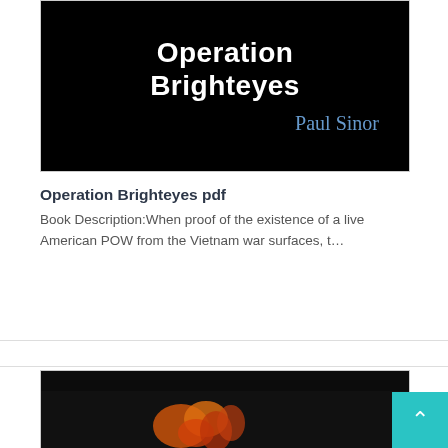[Figure (photo): Book cover for 'Operation Brighteyes' by Paul Sinor. Black background with white bold title text and author name in blue-gray serif font.]
Operation Brighteyes pdf
Book Description:When proof of the existence of a live American POW from the Vietnam war surfaces, t…
[Figure (photo): Partial book cover image with dark background and warm-colored floral or abstract shapes, partially visible at bottom of page.]